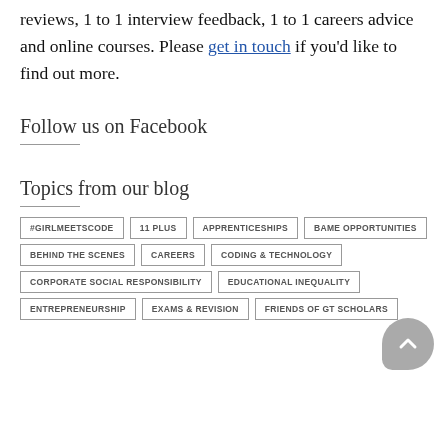reviews, 1 to 1 interview feedback, 1 to 1 careers advice and online courses. Please get in touch if you'd like to find out more.
Follow us on Facebook
Topics from our blog
#GIRLMEETSCODE
11 PLUS
APPRENTICESHIPS
BAME OPPORTUNITIES
BEHIND THE SCENES
CAREERS
CODING & TECHNOLOGY
CORPORATE SOCIAL RESPONSIBILITY
EDUCATIONAL INEQUALITY
ENTREPRENEURSHIP
EXAMS & REVISION
FRIENDS OF GT SCHOLARS